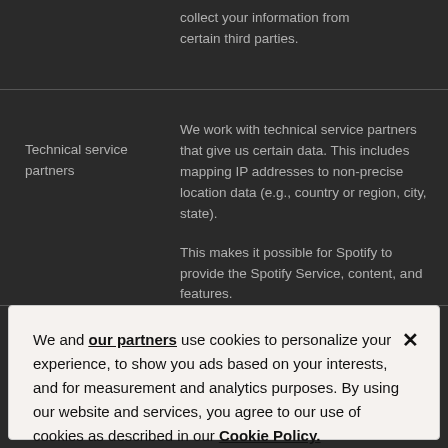collect your information from certain third parties.
Technical service partners
We work with technical service partners that give us certain data. This includes mapping IP addresses to non-precise location data (e.g., country or region, city, state).

This makes it possible for Spotify to provide the Spotify Service, content, and features.
We and our partners use cookies to personalize your experience, to show you ads based on your interests, and for measurement and analytics purposes. By using our website and services, you agree to our use of cookies as described in our Cookie Policy.